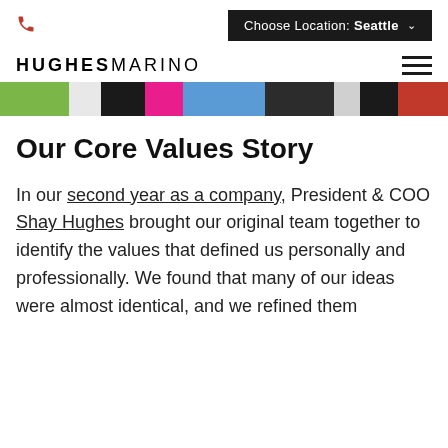Choose Location: Seattle
[Figure (logo): Hughes Marino logo with bold HUGHES and regular weight MARINO text in spaced uppercase letters]
[Figure (photo): Cropped banner image showing colorful clothing and people, a horizontal strip]
Our Core Values Story
In our second year as a company, President & COO Shay Hughes brought our original team together to identify the values that defined us personally and professionally. We found that many of our ideas were almost identical, and we refined them